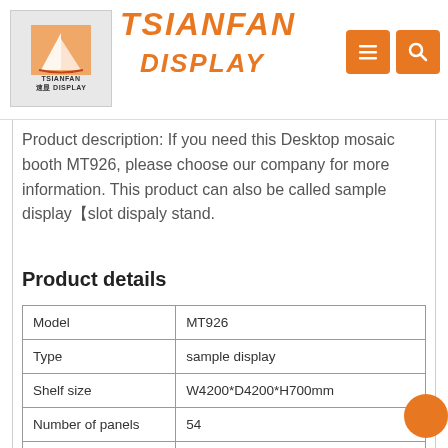TSIANFAN DISPLAY
Product description: If you need this Desktop mosaic booth MT926, please choose our company for more information. This product can also be called sample display【slot dispaly stand.
Product details
|  |  |
| --- | --- |
| Model | MT926 |
| Type | sample display |
| Shelf size | W4200*D4200*H700mm |
| Number of panels | 54 |
| Board size | 1200*1500mm |
| Shelf material |  |
| LOGO |  |
| Packaging material |  |